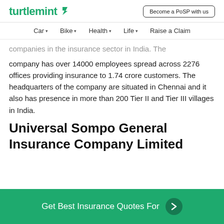turtlemint | Become a PoSP with us
Car ▾   Bike ▾   Health ▾   Life ▾   Raise a Claim
companies in the insurance sector in India. The company has over 14000 employees spread across 2276 offices providing insurance to 1.74 crore customers. The headquarters of the company are situated in Chennai and it also has presence in more than 200 Tier II and Tier III villages in India.
Universal Sompo General Insurance Company Limited
Get Best Insurance Quotes For